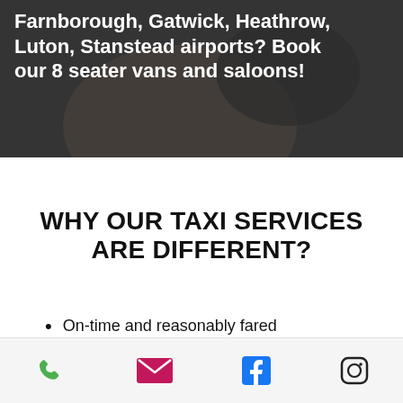[Figure (photo): Dark overlay hero image showing a person in a car, with white bold text overlaid reading: Farnborough, Gatwick, Heathrow, Luton, Stanstead airports? Book our 8 seater vans and saloons!]
WHY OUR TAXI SERVICES ARE DIFFERENT?
On-time and reasonably fared taxi service
Phone, Email, Facebook, Instagram icons